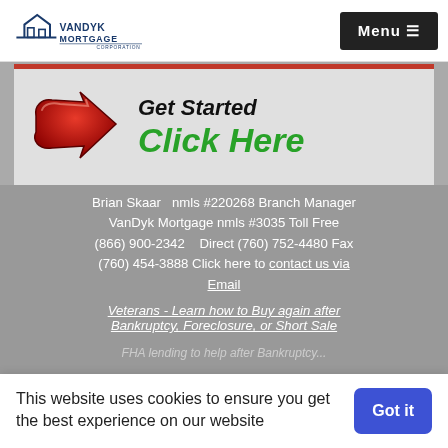VanDyk Mortgage Corporation | Menu
[Figure (screenshot): Get Started Click Here banner with red arrow and green bold italic text]
Brian Skaar  nmls #220268 Branch Manager VanDyk Mortgage nmls #3035 Toll Free (866) 900-2342     Direct (760) 752-4480 Fax (760) 454-3888 Click here to contact us via Email
Veterans - Learn how to Buy again after Bankruptcy, Foreclosure, or Short Sale
This website uses cookies to ensure you get the best experience on our website